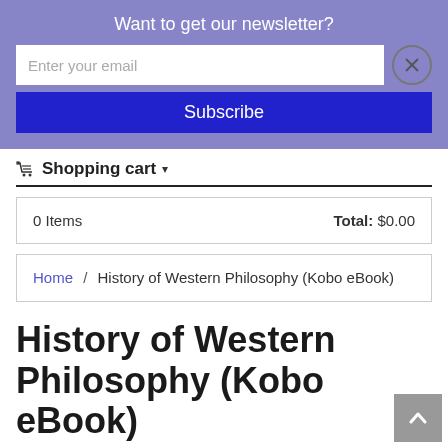Want to get our newsletter?
Enter your email
Subscribe
Shopping cart
| 0 Items | Total: $0.00 |
Home / History of Western Philosophy (Kobo eBook)
History of Western Philosophy (Kobo eBook)
By Bertrand Russell